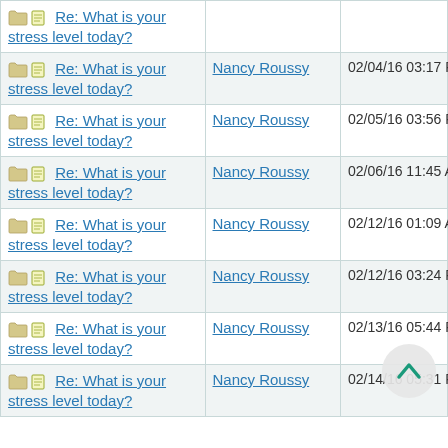| Thread | Author | Date |
| --- | --- | --- |
| Re: What is your stress level today? |  |  |
| Re: What is your stress level today? | Nancy Roussy | 02/04/16 03:17 PM |
| Re: What is your stress level today? | Nancy Roussy | 02/05/16 03:56 PM |
| Re: What is your stress level today? | Nancy Roussy | 02/06/16 11:45 AM |
| Re: What is your stress level today? | Nancy Roussy | 02/12/16 01:09 AM |
| Re: What is your stress level today? | Nancy Roussy | 02/12/16 03:24 PM |
| Re: What is your stress level today? | Nancy Roussy | 02/13/16 05:44 PM |
| Re: What is your stress level today? | Nancy Roussy | 02/14/16 05:31 PM |